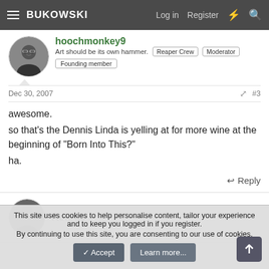BUKOWSKI  Log in  Register
[Figure (photo): Avatar photo of hoochmonkey9 - man with glasses]
hoochmonkey9
Art should be its own hammer.  Reaper Crew  Moderator  Founding member
Dec 30, 2007  #3
awesome.
so that's the Dennis Linda is yelling at for more wine at the beginning of "Born Into This?"
ha.
↩ Reply
[Figure (photo): Avatar photo of Rekrab]
Rekrab
This site uses cookies to help personalise content, tailor your experience and to keep you logged in if you register.
By continuing to use this site, you are consenting to our use of cookies.
✓ Accept   Learn more...